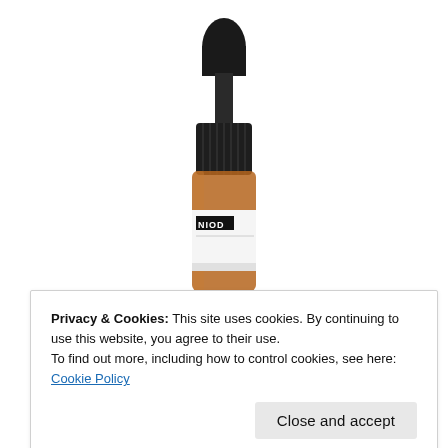[Figure (photo): An amber glass dropper bottle with black dropper cap, showing a white label with 'NIOD' branding in black text on a black rectangle, photographed on a white background. The top portion of the bottle is visible.]
Privacy & Cookies: This site uses cookies. By continuing to use this website, you agree to their use.
To find out more, including how to control cookies, see here: Cookie Policy
Close and accept